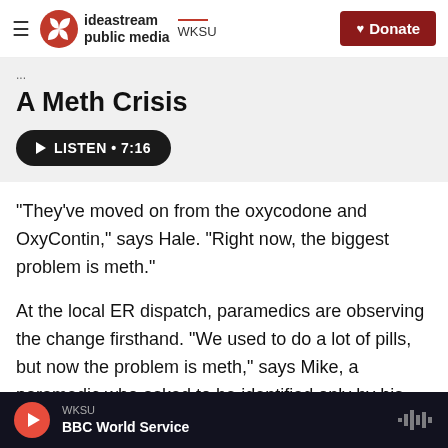ideastream public media WKSU | Donate
A Meth Crisis
[Figure (other): Audio listen button: LISTEN • 7:16]
"They've moved on from the oxycodone and OxyContin," says Hale. "Right now, the biggest problem is meth."
At the local ER dispatch, paramedics are observing the change firsthand. "We used to do a lot of pills, but now the problem is meth," says Mike, a paramedic who asked to be identified only by his first name so he could speak freely. "And it's worse
WKSU
BBC World Service